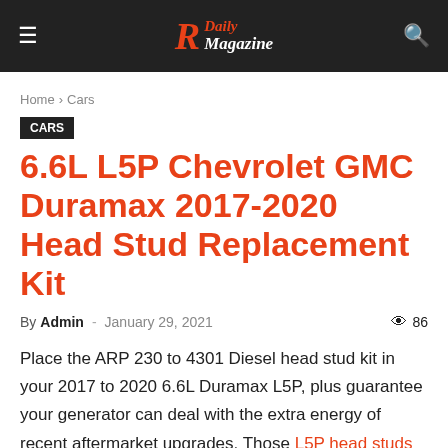R Daily Magazine
Home › Cars
Cars
6.6L L5P Chevrolet GMC Duramax 2017-2020 Head Stud Replacement Kit
By Admin - January 29, 2021  86
Place the ARP 230 to 4301 Diesel head stud kit in your 2017 to 2020 6.6L Duramax L5P, plus guarantee your generator can deal with the extra energy of recent aftermarket upgrades. Those L5P head studs are estimated at 220,000 psi tensile energy and offer you the clamping pressure that you must get rid of the chance of raising your cylinder sources from increased combustion pressures.